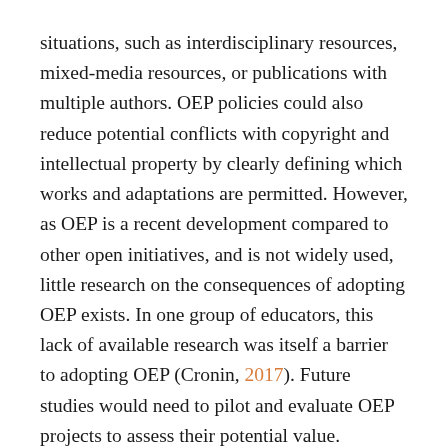situations, such as interdisciplinary resources, mixed-media resources, or publications with multiple authors. OEP policies could also reduce potential conflicts with copyright and intellectual property by clearly defining which works and adaptations are permitted. However, as OEP is a recent development compared to other open initiatives, and is not widely used, little research on the consequences of adopting OEP exists. In one group of educators, this lack of available research was itself a barrier to adopting OEP (Cronin, 2017). Future studies would need to pilot and evaluate OEP projects to assess their potential value.
Institutions wishing to create policies or mandates about openness would also need to evaluate how they